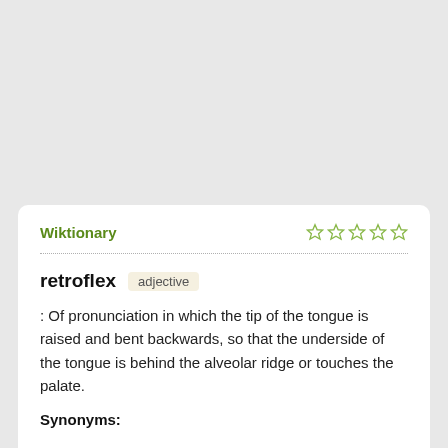Wiktionary
retroflex  adjective
: Of pronunciation in which the tip of the tongue is raised and bent backwards, so that the underside of the tongue is behind the alveolar ridge or touches the palate.
Synonyms: